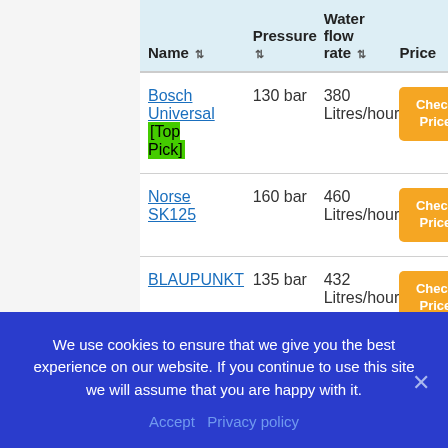| Name | Pressure | Water flow rate | Price |
| --- | --- | --- | --- |
| Bosch Universal [Top Pick] | 130 bar | 380 Litres/hour. | Check Price |
| Norse SK125 | 160 bar | 460 Litres/hour. | Check Price |
| BLAUPUNKT | 135 bar | 432 Litres/hour. | Check Price |
We use cookies to ensure that we give you the best experience on our website. If you continue to use this site we will assume that you are happy with it.
Accept   Privacy policy